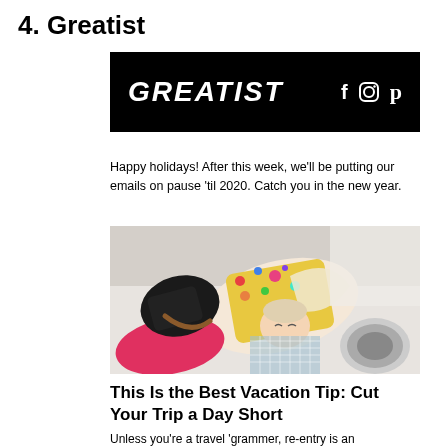4. Greatist
[Figure (logo): Greatist logo on black background with social media icons (f, camera/instagram, p/pinterest)]
Happy holidays! After this week, we'll be putting our emails on pause 'til 2020. Catch you in the new year.
[Figure (photo): Overhead view of a woman lying on the floor surrounded by travel items including a floral scarf, black bag, pink clothing, and headphones]
This Is the Best Vacation Tip: Cut Your Trip a Day Short
Unless you're a travel 'grammer, re-entry is an